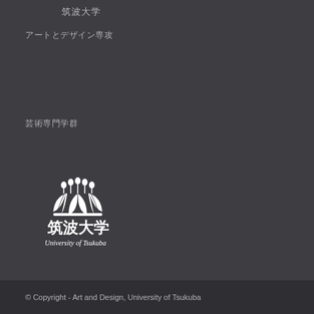筑波大学
アートとデザイン専攻
芸術専門学群
[Figure (logo): University of Tsukuba logo with decorative flower crest above kanji text '筑波大学' and italic text 'University of Tsukuba']
© Copyright - Art and Design, University of Tsukuba